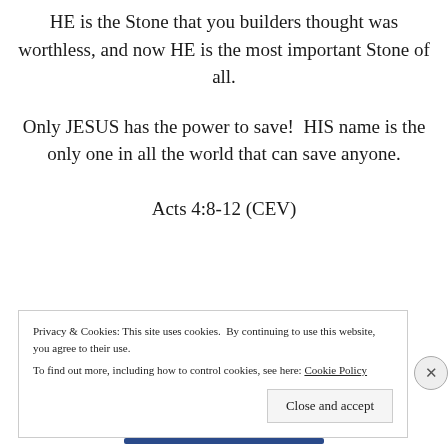HE is the Stone that you builders thought was worthless, and now HE is the most important Stone of all.
Only JESUS has the power to save!  HIS name is the only one in all the world that can save anyone.
Acts 4:8-12 (CEV)
Privacy & Cookies: This site uses cookies. By continuing to use this website, you agree to their use.
To find out more, including how to control cookies, see here: Cookie Policy